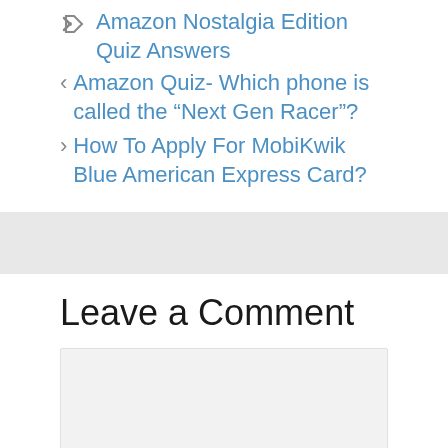Amazon Nostalgia Edition Quiz Answers
Amazon Quiz- Which phone is called the “Next Gen Racer”?
How To Apply For MobiKwik Blue American Express Card?
Leave a Comment